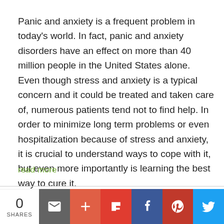Panic and anxiety is a frequent problem in today's world. In fact, panic and anxiety disorders have an effect on more than 40 million people in the United States alone. Even though stress and anxiety is a typical concern and it could be treated and taken care of, numerous patients tend not to find help. In order to minimize long term problems or even hospitalization because of stress and anxiety, it is crucial to understand ways to cope with it, but even more importantly is learning the best way to cure it.
read more
Read more...
0 SHARES | email | + | Flipboard | Facebook | Pinterest | Twitter